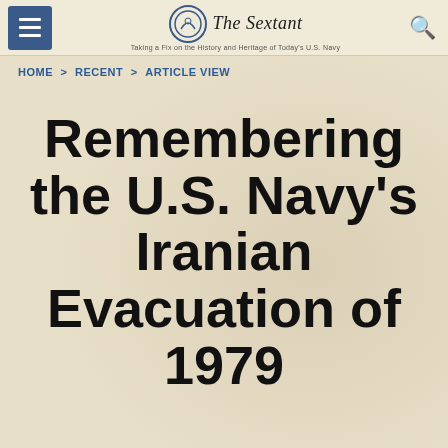The Sextant — Taking a Fix on the History and Heritage of Today's U.S. Navy
HOME > RECENT > ARTICLE VIEW
Remembering the U.S. Navy's Iranian Evacuation of 1979